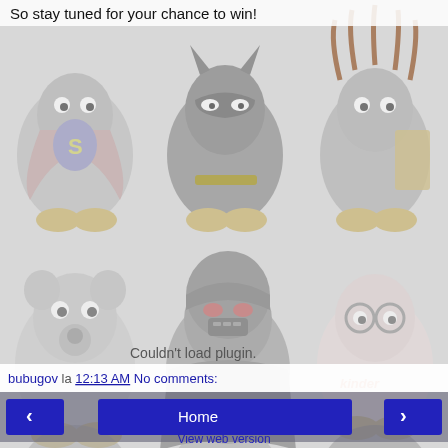So stay tuned for your chance to win!
[Figure (illustration): Grid of Linux Tux penguin characters dressed as various characters: Superman, Batman, a pirate/musician, a dog/bear, Darth Vader, Kinder penguin, and more. Greyed-out background image.]
Couldn't load plugin.
bubugov la 12:13 AM   No comments:
Home
View web version
Powered by Blogger.